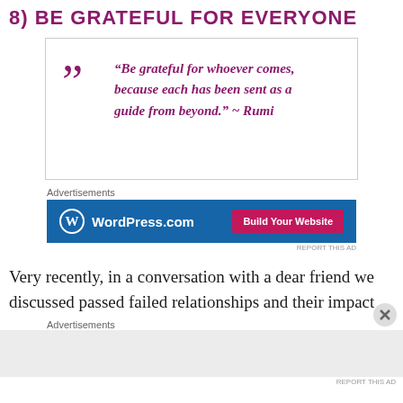8) BE GRATEFUL FOR EVERYONE
“Be grateful for whoever comes, because each has been sent as a guide from beyond.” ~ Rumi
Advertisements
[Figure (screenshot): WordPress.com advertisement banner with blue background, WordPress logo on left and pink 'Build Your Website' button on right]
REPORT THIS AD
Very recently, in a conversation with a dear friend we discussed passed failed relationships and their impact
Advertisements
[Figure (other): Second advertisement area with light grey background]